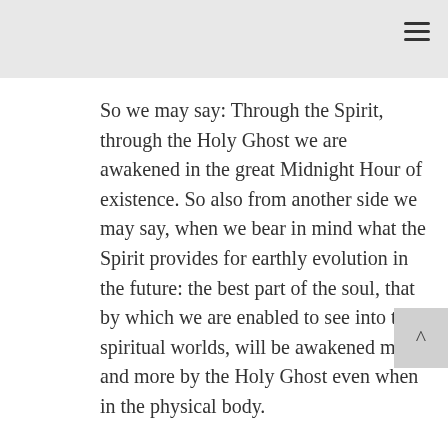So we may say: Through the Spirit, through the Holy Ghost we are awakened in the great Midnight Hour of existence. So also from another side we may say, when we bear in mind what the Spirit provides for earthly evolution in the future: the best part of the soul, that by which we are enabled to see into the spiritual worlds, will be awakened more and more by the Holy Ghost even when in the physical body.
As Man is awakened by the Holy Ghost in the Midnight Hour of existence, so also will he be awakened while living in his physical body on the physical plane. He will waken inwardly through the Spirit rousing him out of the sleep of sense; otherwise through mere sense-perception and through the intellect that is connected with the